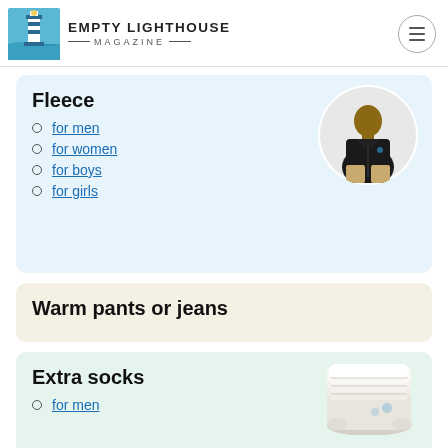EMPTY LIGHTHOUSE MAGAZINE
Fleece
for men
for women
for boys
for girls
[Figure (photo): Person wearing a black fleece zip-up jacket, shown from chest up, in a circular cropped image]
Warm pants or jeans
Extra socks
for men
[Figure (photo): Stack of white ankle socks]